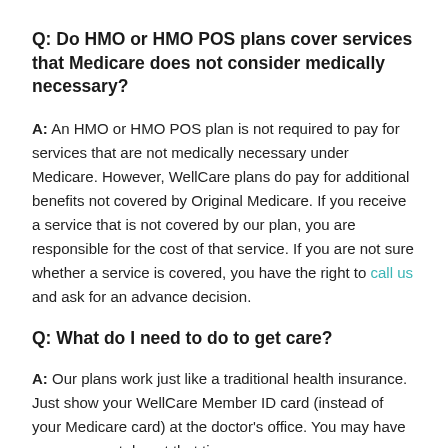Q: Do HMO or HMO POS plans cover services that Medicare does not consider medically necessary?
A: An HMO or HMO POS plan is not required to pay for services that are not medically necessary under Medicare. However, WellCare plans do pay for additional benefits not covered by Original Medicare. If you receive a service that is not covered by our plan, you are responsible for the cost of that service. If you are not sure whether a service is covered, you have the right to call us and ask for an advance decision.
Q: What do I need to do to get care?
A: Our plans work just like a traditional health insurance. Just show your WellCare Member ID card (instead of your Medicare card) at the doctor's office. You may have a co-payment due at that time.